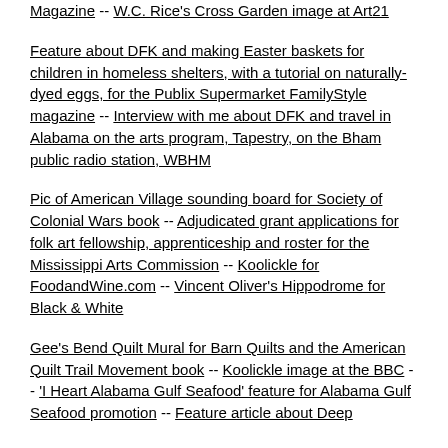Magazine -- W.C. Rice's Cross Garden image at Art21
Feature about DFK and making Easter baskets for children in homeless shelters, with a tutorial on naturally-dyed eggs, for the Publix Supermarket FamilyStyle magazine -- Interview with me about DFK and travel in Alabama on the arts program, Tapestry, on the Bham public radio station, WBHM
Pic of American Village sounding board for Society of Colonial Wars book -- Adjudicated grant applications for folk art fellowship, apprenticeship and roster for the Mississippi Arts Commission -- Koolickle for FoodandWine.com -- Vincent Oliver's Hippodrome for Black & White
Gee's Bend Quilt Mural for Barn Quilts and the American Quilt Trail Movement book -- Koolickle image at the BBC -- 'I Heart Alabama Gulf Seafood' feature for Alabama Gulf Seafood promotion -- Feature article about Deep